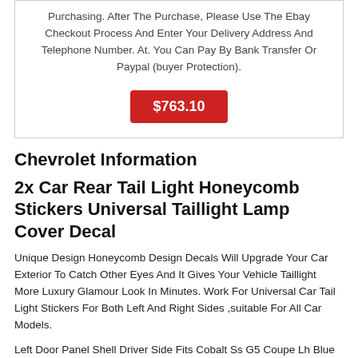Purchasing. After The Purchase, Please Use The Ebay Checkout Process And Enter Your Delivery Address And Telephone Number. At. You Can Pay By Bank Transfer Or Paypal (buyer Protection).
$763.10
Chevrolet Information
2x Car Rear Tail Light Honeycomb Stickers Universal Taillight Lamp Cover Decal
Unique Design Honeycomb Design Decals Will Upgrade Your Car Exterior To Catch Other Eyes And It Gives Your Vehicle Taillight More Luxury Glamour Look In Minutes. Work For Universal Car Tail Light Stickers For Both Left And Right Sides ,suitable For All Car Models.
Left Door Panel Shell Driver Side Fits Cobalt Ss G5 Coupe Lh Blue 05 06 07 09 10. G5 07-10 Coupe. Cobalt 05-10 Coupe. It Is Out Of A 2007 Chevrolet Cobalt. You Are Looking At One Used Left (driver) Side Door Panel Shell Only. As Shown In The Photos. It Has Been Stripped As Shown In The